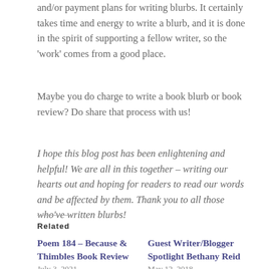and/or payment plans for writing blurbs. It certainly takes time and energy to write a blurb, and it is done in the spirit of supporting a fellow writer, so the 'work' comes from a good place.
Maybe you do charge to write a book blurb or book review? Do share that process with us!
I hope this blog post has been enlightening and helpful! We are all in this together – writing our hearts out and hoping for readers to read our words and be affected by them. Thank you to all those who've written blurbs!
Related
Poem 184 – Because & Thimbles Book Review
July 3, 2021
Guest Writer/Blogger Spotlight Bethany Reid
May 12, 2018